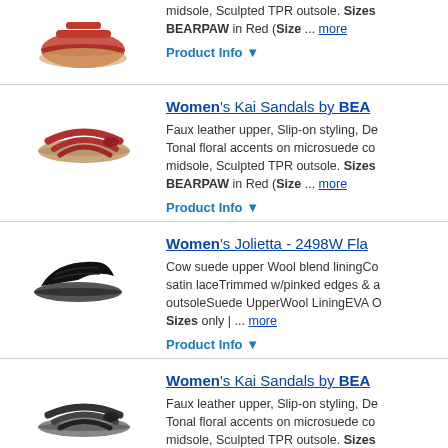[Figure (photo): Red women's sandal shoe (partial, top of page)]
midsole, Sculpted TPR outsole. Sizes BEARPAW in Red (Size ... more
Product Info ▼
[Figure (photo): Red women's Kai sandal by BEARPAW]
Women's Kai Sandals by BEA
Faux leather upper, Slip-on styling, De Tonal floral accents on microsuede co midsole, Sculpted TPR outsole. Sizes BEARPAW in Red (Size ... more
Product Info ▼
[Figure (photo): Black women's Jolietta flat shoe]
Women's Jolietta - 2498W Fla
Cow suede upper Wool blend liningCo satin laceTrimmed w/pinked edges & a outsoleSuede UpperWool LiningEVA O Sizes only | ... more
Product Info ▼
[Figure (photo): Black women's Kai sandal by BEARPAW]
Women's Kai Sandals by BEA
Faux leather upper, Slip-on styling, De Tonal floral accents on microsuede co midsole, Sculpted TPR outsole. Sizes BEARPAW in Black ... more
Product Info ▼
[Figure (photo): Red women's Kai sandal by BEARPAW (bottom, partial)]
Women's Kai Sandals by BEA
Faux leather upper, Slip-on styling, De Tonal floral accents on microsuede co